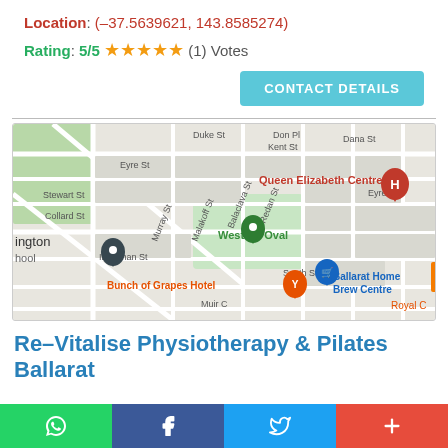Location: (–37.5639621, 143.8585274)
Rating: 5/5 ★★★★★ (1) Votes
CONTACT DETAILS
[Figure (map): Google Maps street map showing area around Queen Elizabeth Centre, Western Oval, Ballarat. Street names visible: Dana St, Don Pl, Kent St, Duke St, Eyre St, Stewart St, Murray St, Malakoff St, Collard St, Balaclava St, Redan St, Inkerman St, South St, Muir C. Landmarks: Queen Elizabeth Centre (red H pin), Western Oval (green pin), Ballarat Home Brew Centre (blue pin), Bunch of Grapes Hotel (orange pin), ington school (blue pin). Partial text: Royal C, ington.]
Re–Vitalise Physiotherapy & Pilates Ballarat
WhatsApp | Facebook | Twitter | +